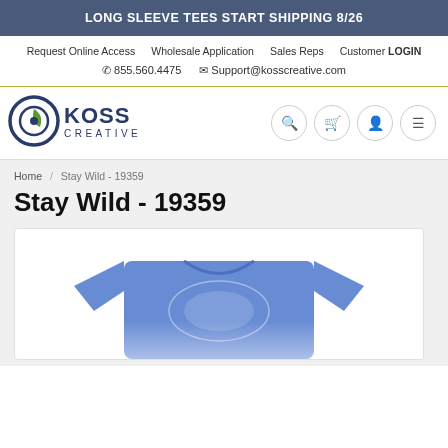LONG SLEEVE TEES START SHIPPING 8/26
Request Online Access   Wholesale Application   Sales Reps   Customer LOGIN
855.560.4475   Support@kosscreative.com
[Figure (logo): Koss Creative logo with circular leaf/eye icon and text KOSS CREATIVE]
Breadcrumb: Home / Stay Wild - 19359
Stay Wild - 19359
[Figure (photo): Blue long sleeve t-shirt with Stay Wild graphic design, partially visible from the waist up]